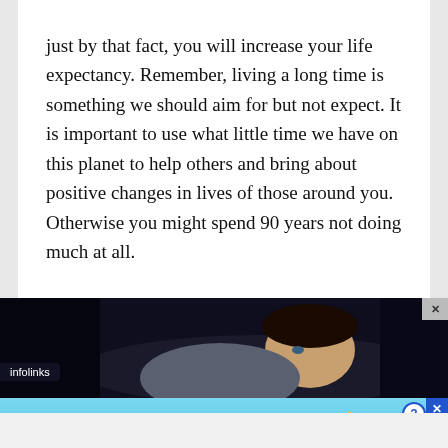just by that fact, you will increase your life expectancy. Remember, living a long time is something we should aim for but not expect. It is important to use what little time we have on this planet to help others and bring about positive changes in lives of those around you. Otherwise you might spend 90 years not doing much at all.
[Figure (photo): Advertisement banner showing a man lying in bed with eyes open in a dark room, followed by a BitLife 'Now With GOD MODE' ad banner with sky-blue background and infolinks label]